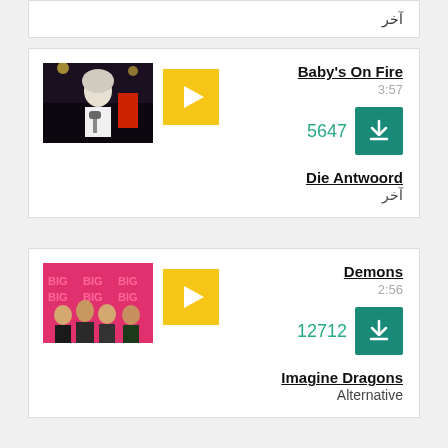آخر
[Figure (photo): Album art / artist photo for Baby's On Fire - Die Antwoord: performer with blonde hair singing into microphone]
Baby's On Fire
3:57
5647
Die Antwoord
آخر
[Figure (photo): Album art / artist photo for Demons - Imagine Dragons: band group photo in front of pink backdrop]
Demons
2:56
12712
Imagine Dragons
Alternative